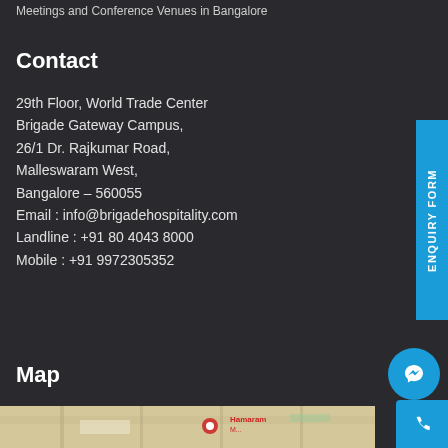Meetings and Conference Venues in Bangalore
Contact
29th Floor, World Trade Center
Brigade Gateway Campus,
26/1 Dr. Rajkumar Road,
Malleswaram West,
Bangalore – 560055
Email : info@brigadehospitality.com
Landline : +91 80 4043 8000
Mobile : +91 9972305352
Map
[Figure (map): Map preview showing location near Malleswaram, Bangalore]